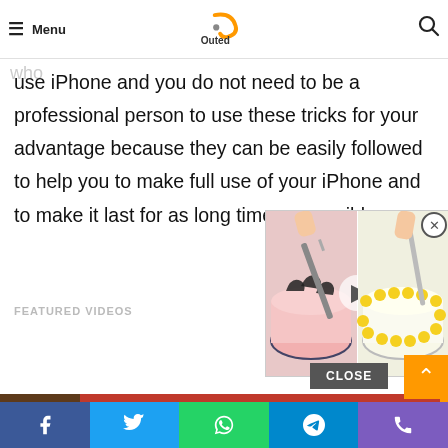Menu [Logo: Outed] [Search icon]
that allows you to get all what you need. There are multiple tips and tricks that are presented to those who use iPhone and you do not need to be a professional person to use these tricks for your advantage because they can be easily followed to help you to make full use of your iPhone and to make it last for as long time as possible.
FEATURED VIDEOS
[Figure (photo): Popup video thumbnail showing two decorated cakes being cut with a knife, with a play button overlay]
CLOSE